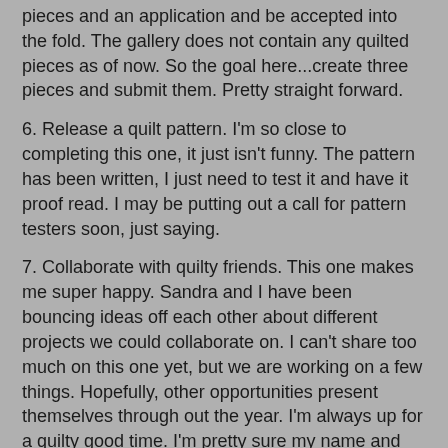pieces and an application and be accepted into the fold. The gallery does not contain any quilted pieces as of now. So the goal here...create three pieces and submit them. Pretty straight forward.
6.  Release a quilt pattern.  I'm so close to completing this one, it just isn't funny.  The pattern has been written, I just need to test it and have it proof read.  I may be putting out a call for pattern testers soon, just saying.
7.  Collaborate with quilty friends.  This one makes me super happy.  Sandra and I have been bouncing ideas off each other about different projects we could collaborate on.  I can't share too much on this one yet, but we are working on a few things.  Hopefully, other opportunities present themselves through out the year.  I'm always up for a quilty good time.  I'm pretty sure my name and number are written on a few quilt shop bathrooms (just kidding).
So for now, I think I shall end my list.  I have quite a bit to think about and accomplish in this next year.  I look forward to those things I know I need to do and all the little squirrels that may pop up along the way. Stay tuned for more.